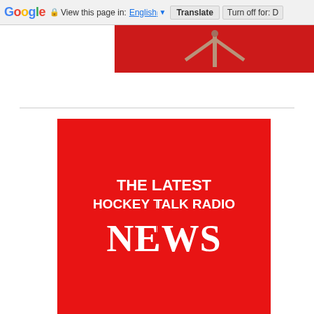[Figure (screenshot): Google Translate toolbar at the top of a browser page showing 'View this page in: English [dropdown] Translate | Turn off for: D']
[Figure (illustration): Partial red banner at the top with a Y-shaped antenna icon visible]
[Figure (illustration): Red promotional graphic with white bold text reading 'THE LATEST HOCKEY TALK RADIO NEWS']